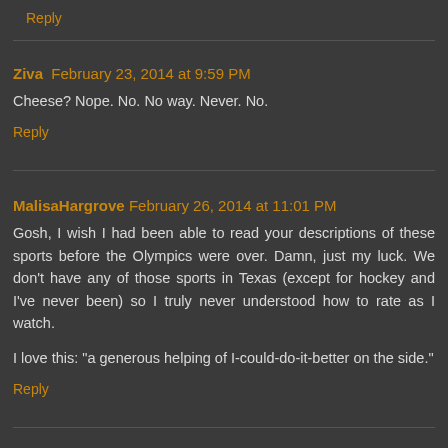Reply
Ziva February 23, 2014 at 9:59 PM
Cheese? Nope. No. No way. Never. No.
Reply
MalisaHargrove February 26, 2014 at 11:01 PM
Gosh, I wish I had been able to read your descriptions of these sports before the Olympics were over. Damn, just my luck. We don't have any of those sports in Texas (except for hockey and I've never been) so I truly never understood how to rate as I watch.
I love this: "a generous helping of I-could-do-it-better on the side."
Reply
Ziva March 2, 2014 at 12:58 AM